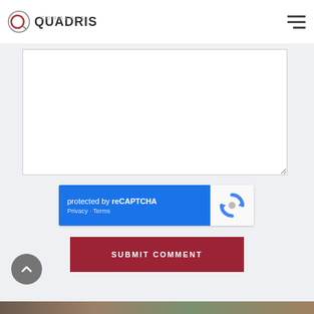[Figure (logo): Quadris logo with circular Q icon and QUADRIS text, with COMMENTS label above]
[Figure (screenshot): Hamburger menu icon with three horizontal bars]
[Figure (screenshot): Large white textarea comment input box]
[Figure (screenshot): reCAPTCHA widget showing 'protected by reCAPTCHA' with Privacy and Terms links, and reCAPTCHA logo]
SUBMIT COMMENT
[Figure (screenshot): Dark grey circular back-to-top button with upward chevron arrow]
[Figure (photo): Partial photo strip visible at bottom of page]